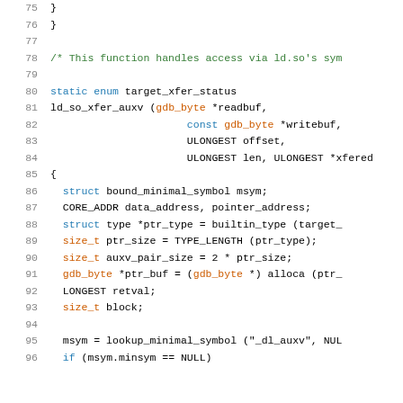Source code listing lines 75-96, C code for ld_so_xfer_auxv function